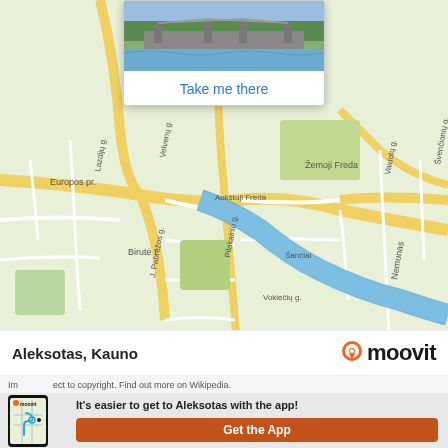[Figure (map): Street map of Kaunas area showing Aleksotas district with Nemunas river, streets labeled in Lithuanian including Europos pr., Žemoji Freda, Aukštoji Freda, Šančiai, Vokiečių g., Nemumas, Panemunė, Lazdijų g., Velvenų g., J. Pabrėžos g., Pilakainio g., Vaidotų g. A popup card shows a bridge photo with 'Take me there' link.]
© OpenStreetMap contributors | © OpenMapTiles
Aleksotas, Kauno
[Figure (logo): Moovit logo with orange pin icon]
Image subject to copyright. Find out more on Wikipedia.
[Figure (screenshot): Moovit app phone mockup showing transit map]
It's easier to get to Aleksotas with the app!
Get the App